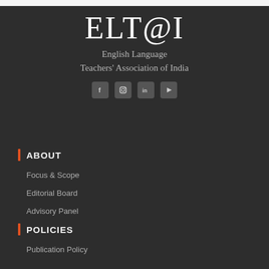ELT@I
English Language
Teachers' Association of India
[Figure (infographic): Social media icons: Facebook, Instagram, LinkedIn, YouTube]
ABOUT
Focus & Scope
Editorial Board
Advisory Panel
POLICIES
Publication Policy